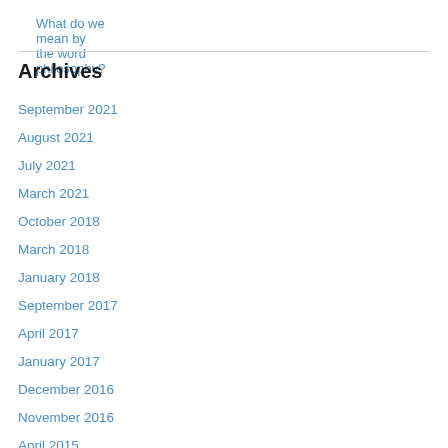What do we mean by the word philosophy?
Archives
September 2021
August 2021
July 2021
March 2021
October 2018
March 2018
January 2018
September 2017
April 2017
January 2017
December 2016
November 2016
April 2015
June 2014
April 2014